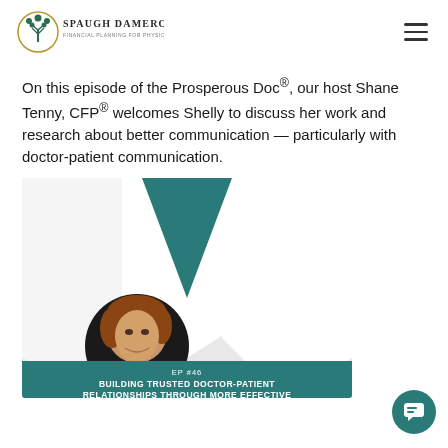Spaugh Dameron Tenny – Financial Planning for Physicians and Dentists
On this episode of the Prosperous Doc®, our host Shane Tenny, CFP® welcomes Shelly to discuss her work and research about better communication — particularly with doctor-patient communication.
[Figure (illustration): Podcast episode artwork for EP #46 – Building Trusted Doctor-Patient Relationships Through More Effective [communication]. Features a woman with short auburn hair in a circular photo, a white lab coat graphic, and a teal inverted triangle, with teal banner at bottom showing episode info.]